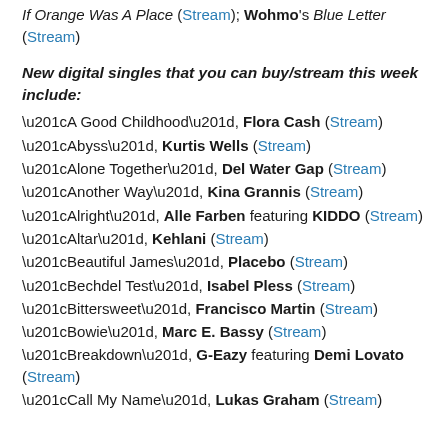If Orange Was A Place (Stream); Wohmo's Blue Letter (Stream)
New digital singles that you can buy/stream this week include:
"A Good Childhood", Flora Cash (Stream)
"Abyss", Kurtis Wells (Stream)
"Alone Together", Del Water Gap (Stream)
"Another Way", Kina Grannis (Stream)
"Alright", Alle Farben featuring KIDDO (Stream)
"Altar", Kehlani (Stream)
"Beautiful James", Placebo (Stream)
"Bechdel Test", Isabel Pless (Stream)
"Bittersweet", Francisco Martin (Stream)
"Bowie", Marc E. Bassy (Stream)
"Breakdown", G-Eazy featuring Demi Lovato (Stream)
"Call My Name", Lukas Graham (Stream)